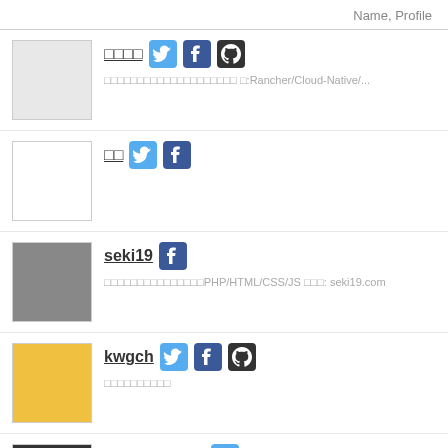Name, Profile
□□□□ [Twitter][Facebook][GitHub] □□□□□□□□□□□□□□□□□□□□ □:Rancher/Cloud-Native/...
□□ [Twitter][Facebook]
seki19 [Facebook] □□□□□□□□□□□□□□□PHP/HTML/CSS/JS □□□: seki19.com
kwgch [Twitter][Facebook][GitHub] □□□□□□□□□□
cyberblack28 [Twitter] Working @Oracle Japan / Opinions are my own, NO...
YasunariTanaka [Twitter]
shindoy [Twitter]